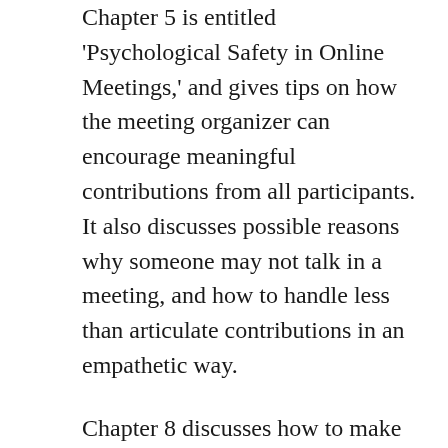Chapter 5 is entitled 'Psychological Safety in Online Meetings,' and gives tips on how the meeting organizer can encourage meaningful contributions from all participants. It also discusses possible reasons why someone may not talk in a meeting, and how to handle less than articulate contributions in an empathetic way.
Chapter 8 discusses how to make people feel safe enough to share their successes within the team. We all want to be noticed for our successes, but also want to avoid looking arrogant.
Chapter 10, 'Creating a Culture of Feedback,' ends with several specific suggestions on how